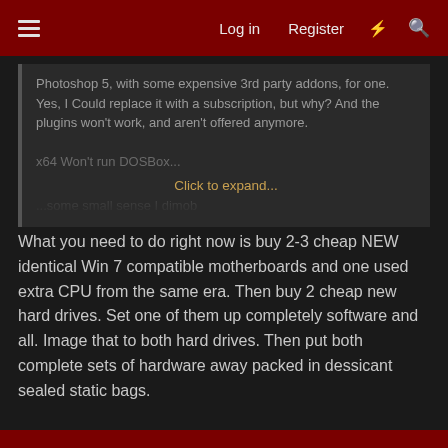Log in  Register
Photoshop 5, with some expensive 3rd party addons, for one. Yes, I Could replace it with a subscription, but why? And the plugins won't work, and aren't offered anymore.

x64 Won't run DOSBox... Click to expand... ...some small sense I dimob
What you need to do right now is buy 2-3 cheap NEW identical Win 7 compatible motherboards and one used extra CPU from the same era. Then buy 2 cheap new hard drives. Set one of them up completely software and all. Image that to both hard drives. Then put both complete sets of hardware away packed in dessicant sealed static bags.
When your current motherboard dies, you'll have two more new systems installed and ready that wont have to go through the setup and update process that will only get more hellish as time goes on. You'll be set for the next 15 years. You'll have retired or changed the way you do things by then.